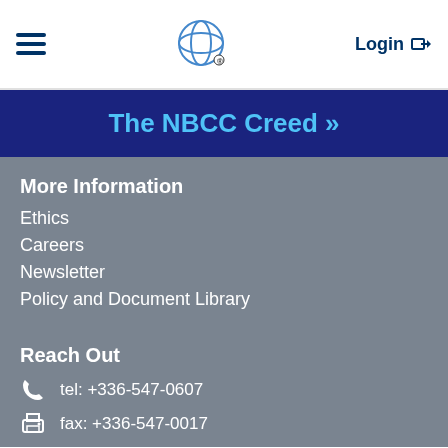Login
The NBCC Creed »
More Information
Ethics
Careers
Newsletter
Policy and Document Library
Reach Out
tel: +336-547-0607
fax: +336-547-0017
email: nbcc@nbcc.org